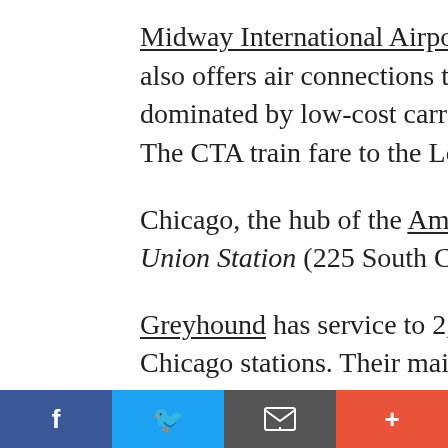Midway International Airport, on the south side, also offers air connections to cities all over, dominated by low-cost carrier Southwest. The CTA train fare to the Loop or Lakevie...
Chicago, the hub of the Amtrak national r... Union Station (225 South Canal St) from al...
Greyhound has service to 2,400 locations... Chicago stations. Their main terminus, at... Loop, where I290 intersects with I90/94. M... bus service between Chicago and over 100... Toronto, Canada.
[Figure (other): Social media sharing bar with Facebook, Twitter, Email, and Plus buttons]